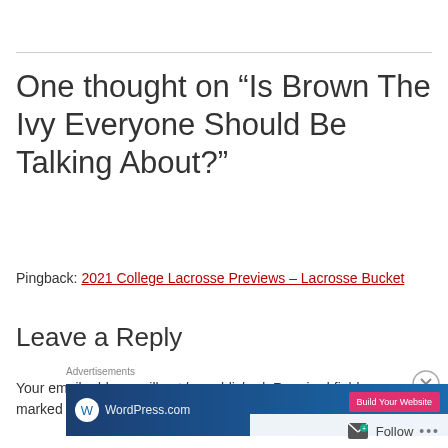One thought on “Is Brown The Ivy Everyone Should Be Talking About?”
Pingback: 2021 College Lacrosse Previews – Lacrosse Bucket
Leave a Reply
Your email address will not be published. Required fields are marked *
[Figure (other): WordPress.com advertisement banner with Build Your Website button]